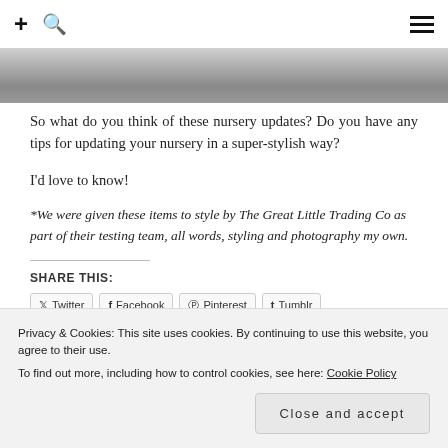+ 🔍  ☰
[Figure (photo): Partial photo strip at top of page, grayscale image of nursery scene]
So what do you think of these nursery updates? Do you have any tips for updating your nursery in a super-stylish way?
I'd love to know!
*We were given these items to style by The Great Little Trading Co as part of their testing team, all words, styling and photography my own.
SHARE THIS:
Twitter  Facebook  Pinterest  Tumblr
Privacy & Cookies: This site uses cookies. By continuing to use this website, you agree to their use. To find out more, including how to control cookies, see here: Cookie Policy
Close and accept